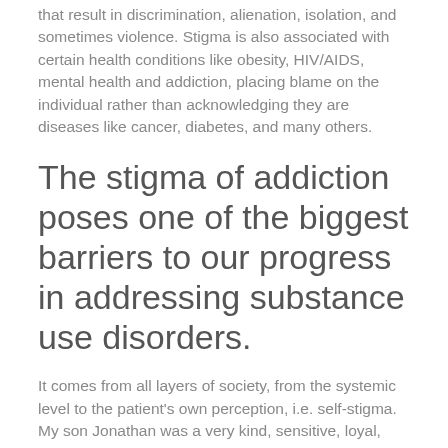that result in discrimination, alienation, isolation, and sometimes violence. Stigma is also associated with certain health conditions like obesity, HIV/AIDS, mental health and addiction, placing blame on the individual rather than acknowledging they are diseases like cancer, diabetes, and many others.
The stigma of addiction poses one of the biggest barriers to our progress in addressing substance use disorders.
It comes from all layers of society, from the systemic level to the patient's own perception, i.e. self-stigma. My son Jonathan was a very kind, sensitive, loyal, and resilient person. He cared